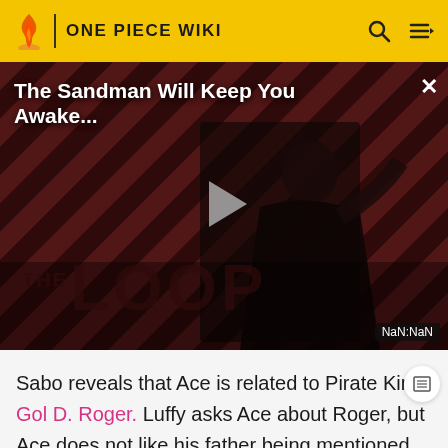ONE PIECE WIKI
[Figure (screenshot): Video player showing 'The Sandman Will Keep You Awake...' with a dark figure against a striped red/black background, play button in center, THE LOOP text watermark, and NaN:NaN timestamp badge]
Sabo reveals that Ace is related to Pirate King Gol D. Roger. Luffy asks Ace about Roger, but Ace does not like his father being mentioned, so Sabo and Luffy and Ace say that they will break their relationship as "brothers".